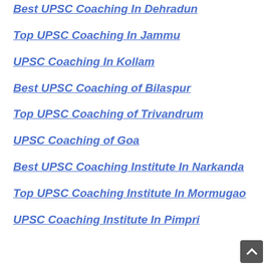Best UPSC Coaching In Dehradun
Top UPSC Coaching In Jammu
UPSC Coaching In Kollam
Best UPSC Coaching of Bilaspur
Top UPSC Coaching of Trivandrum
UPSC Coaching of Goa
Best UPSC Coaching Institute In Narkanda
Top UPSC Coaching Institute In Mormugao
UPSC Coaching Institute In Pimpri